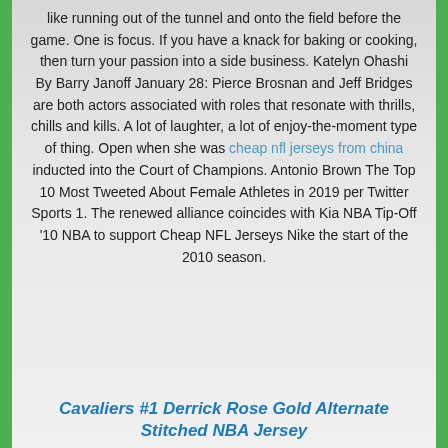like running out of the tunnel and onto the field before the game. One is focus. If you have a knack for baking or cooking, then turn your passion into a side business. Katelyn Ohashi By Barry Janoff January 28: Pierce Brosnan and Jeff Bridges are both actors associated with roles that resonate with thrills, chills and kills. A lot of laughter, a lot of enjoy-the-moment type of thing. Open when she was cheap nfl jerseys from china inducted into the Court of Champions. Antonio Brown The Top 10 Most Tweeted About Female Athletes in 2019 per Twitter Sports 1. The renewed alliance coincides with Kia NBA Tip-Off '10 NBA to support Cheap NFL Jerseys Nike the start of the 2010 season.
Cavaliers #1 Derrick Rose Gold Alternate Stitched NBA Jersey
Price: $23.00
Alex Morgan 5. Hamilton is also on course to overhaul Schumacher as the driver with the most race wins and podiums in F1 history. The Ravens could be intrigued by Cromartie's ball skills and Carr's